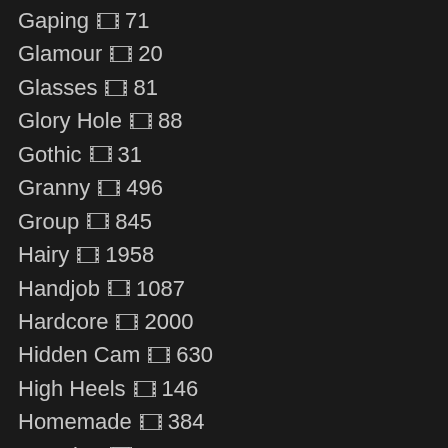Gaping 71
Glamour 20
Glasses 81
Glory Hole 88
Gothic 31
Granny 496
Group 845
Hairy 1958
Handjob 1087
Hardcore 2000
Hidden Cam 630
High Heels 146
Homemade 384
Insertion 119
Interracial 681
Kissing 328
Latex 177
Lesbian 314